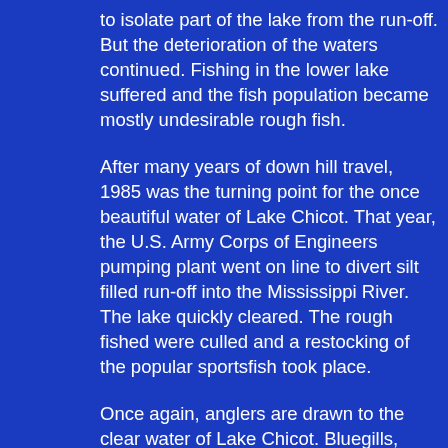to isolate part of the lake from the run-off. But the deterioration of the waters continued. Fishing in the lower lake suffered and the fish population became mostly undesirable rough fish.
After many years of down hill travel, 1985 was the turning point for the once beautiful water of Lake Chicot. That year, the U.S. Army Corps of Engineers pumping plant went on line to divert silt filled run-off into the Mississippi River. The lake quickly cleared. The rough fished were culled and a restocking of the popular sportsfish took place.
Once again, anglers are drawn to the clear water of Lake Chicot. Bluegills, channel catfish, largemouth bass and redear sunfish make for good fishing. Crappie fishing is not up to desired level as in years past. The Arkansas Game &